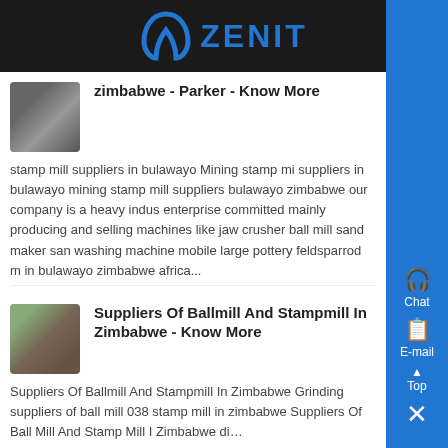[Figure (logo): Zenit logo with blue arch icon and ZENIT text on dark background]
[Figure (photo): Thumbnail image of mining/industrial equipment]
zimbabwe - Parker - Know More
stamp mill suppliers in bulawayo Mining stamp mi suppliers in bulawayo mining stamp mill suppliers bulawayo zimbabwe our company is a heavy indus enterprise committed mainly producing and selling machines like jaw crusher ball mill sand maker san washing machine mobile large pottery feldsparrod m in bulawayo zimbabwe africa...
[Figure (photo): Thumbnail image of ball mill or stamp mill equipment]
Suppliers Of Ballmill And Stampmill In Zimbabwe - Know More
Suppliers Of Ballmill And Stampmill In Zimbabwe Grinding suppliers of ball mill 038 stamp mill in zimbabwe Suppliers Of Ball Mill And Stamp Mill I Zimbabwe di…